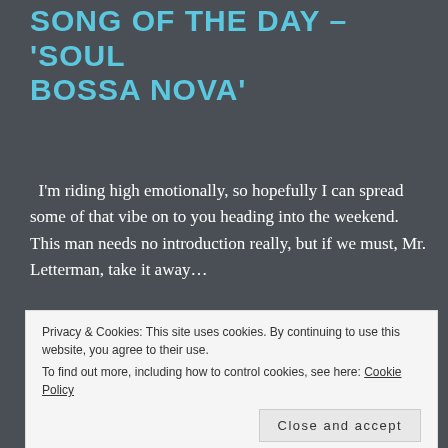SONG OF THE DAY – 'SOUL BOSSA NOVA'
I'm riding high emotionally, so hopefully I can spread some of that vibe on to you heading into the weekend. This man needs no introduction really, but if we must, Mr. Letterman, take it away…
MAY 21, 2013
SONG OF THE DAY – 'AND I
Privacy & Cookies: This site uses cookies. By continuing to use this website, you agree to their use.
To find out more, including how to control cookies, see here: Cookie Policy
Close and accept
…